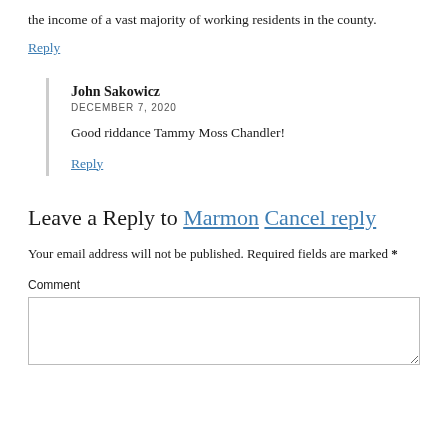the income of a vast majority of working residents in the county.
Reply
John Sakowicz
DECEMBER 7, 2020
Good riddance Tammy Moss Chandler!
Reply
Leave a Reply to Marmon Cancel reply
Your email address will not be published. Required fields are marked *
Comment